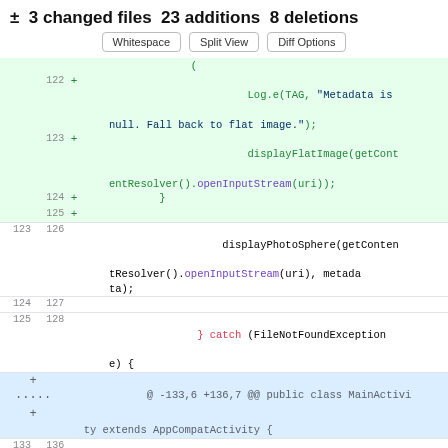± 3 changed files 23 additions 8 deletions
Whitespace | Split View | Diff Options
[Figure (screenshot): Code diff view showing added and changed lines in a Java Android file. Added lines 122-125 show logging and fallback to flat image, line 126 shows displayPhotoSphere call, lines 128 show catch block, hunk header for MainActivity class, and lines 133-137 showing private void displayPhotoSphere method signature.]